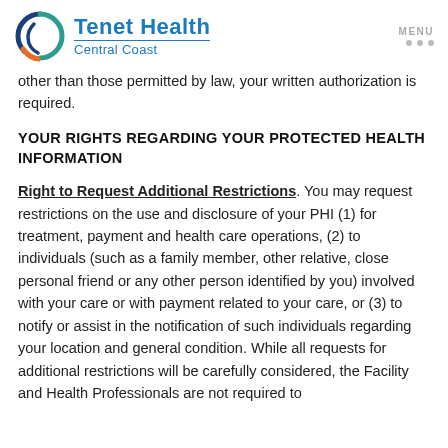Tenet Health Central Coast
other than those permitted by law, your written authorization is required.
YOUR RIGHTS REGARDING YOUR PROTECTED HEALTH INFORMATION
Right to Request Additional Restrictions. You may request restrictions on the use and disclosure of your PHI (1) for treatment, payment and health care operations, (2) to individuals (such as a family member, other relative, close personal friend or any other person identified by you) involved with your care or with payment related to your care, or (3) to notify or assist in the notification of such individuals regarding your location and general condition. While all requests for additional restrictions will be carefully considered, the Facility and Health Professionals are not required to